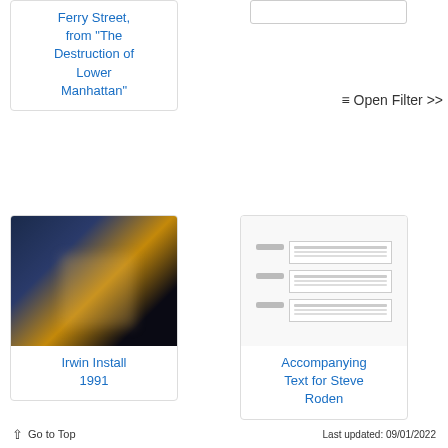Ferry Street, from "The Destruction of Lower Manhattan"
[Figure (screenshot): Small placeholder image top right]
≡ Open Filter >>
[Figure (photo): Dark blurry photo of an installation with warm light glow, Irwin Install 1991]
Irwin Install 1991
[Figure (screenshot): Preview of a document with three sections showing small text blocks]
Accompanying Text for Steve Roden
↑ Go to Top    Last updated: 09/01/2022